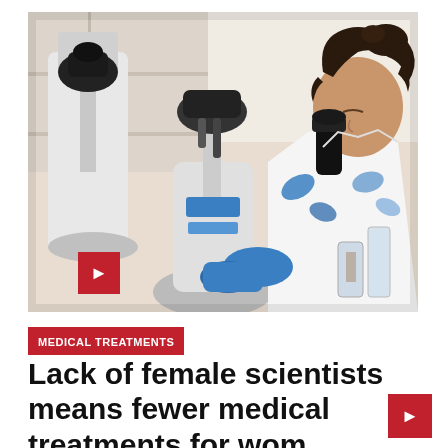[Figure (photo): Female scientist in white lab coat looking through a microscope in a laboratory setting; other scientists and lab equipment visible in the background; blue gloves visible on hands.]
MEDICAL TREATMENTS
Lack of female scientists means fewer medical treatments for wom